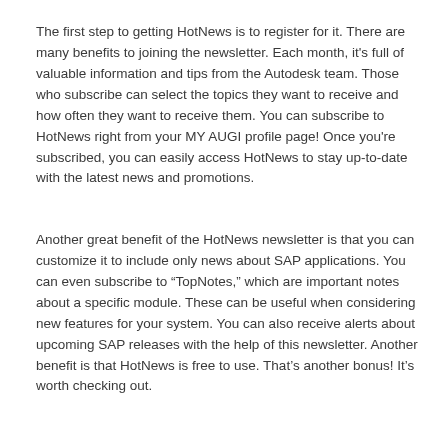The first step to getting HotNews is to register for it. There are many benefits to joining the newsletter. Each month, it's full of valuable information and tips from the Autodesk team. Those who subscribe can select the topics they want to receive and how often they want to receive them. You can subscribe to HotNews right from your MY AUGI profile page! Once you're subscribed, you can easily access HotNews to stay up-to-date with the latest news and promotions.
Another great benefit of the HotNews newsletter is that you can customize it to include only news about SAP applications. You can even subscribe to “TopNotes,” which are important notes about a specific module. These can be useful when considering new features for your system. You can also receive alerts about upcoming SAP releases with the help of this newsletter. Another benefit is that HotNews is free to use. That’s another bonus! It’s worth checking out.